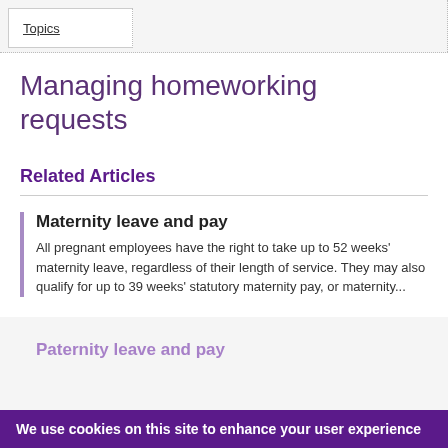Topics
Managing homeworking requests
Related Articles
Maternity leave and pay
All pregnant employees have the right to take up to 52 weeks' maternity leave, regardless of their length of service. They may also qualify for up to 39 weeks' statutory maternity pay, or maternity...
Paternity leave and pay
We use cookies on this site to enhance your user experience